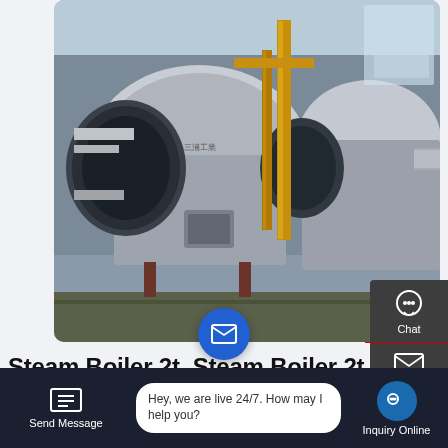[Figure (photo): Industrial boiler room showing multiple large steam boilers with pipes, yellow gas lines, and industrial equipment in a factory setting]
Steam Boiler 2t, Steam Boiler 2t Suppliers And Manufacturers At …
6t Natural Gas Fired Boiler Plant Commercial Belarus Price 6t Natural Gas steam boiler Commercial Malaysia. Commercial Manufacturers 6T Oil Steam Boiler Nepal. 6t/h lpg boiler prices in Thailand. Posted on June 27 2019 Author Light Oil Fired Boiler Price 0